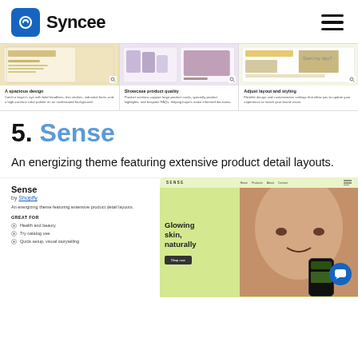Syncee
[Figure (screenshot): Three feature columns showing Shopify theme features: A spacious design, Showcase product quality, Adjust layout and styling]
A spacious design
Catch a buyer's eye with bold headlines, thin strokes, industrial fonts, and a high-contrast color palette on an understated background.
Showcase product quality
Product sections support large product cards, specialty product highlights, and bespoke FAQs, helping buyers make informed decisions.
Adjust layout and styling
Flexible design and customization settings that allow you to update your experience to match your brand vision.
5. Sense
An energizing theme featuring extensive product detail layouts.
[Figure (screenshot): Sense theme by Shopify — left panel showing theme info (title, by Shopify, tagline, Great For items: Health and beauty, Try catalog use, Quick setup visual storytelling), right panel showing theme preview with green background and 'Glowing skin, naturally' headline with face close-up photo and chat bubble icon]